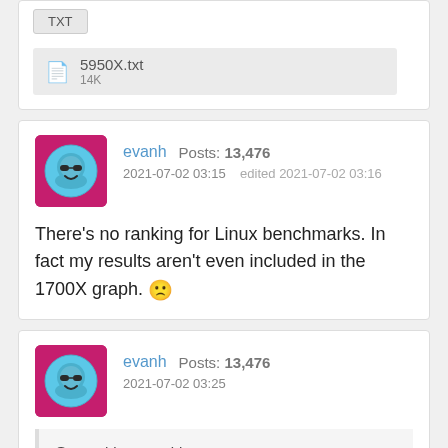[Figure (screenshot): TXT button and file attachment showing 5950X.txt 14K]
[Figure (screenshot): User post by evanh, Posts: 13,476, dated 2021-07-02 03:15, edited 2021-07-02 03:16, with text about no ranking for Linux benchmarks]
There's no ranking for Linux benchmarks. In fact my results aren't even included in the 1700X graph. 🙁
[Figure (screenshot): User post by evanh, Posts: 13,476, dated 2021-07-02 03:25, with a quoted post from xoroshironot]
@xoroshironot said:
I got the 5950X installed and ran Passmark:
https://passmark.com/baselines/V10/display.php?